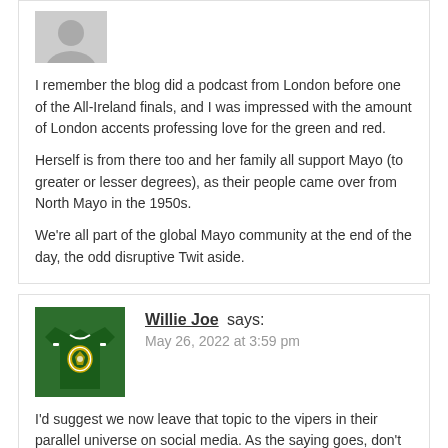[Figure (illustration): Grey avatar silhouette placeholder image at top of comment]
I remember the blog did a podcast from London before one of the All-Ireland finals, and I was impressed with the amount of London accents professing love for the green and red.
Herself is from there too and her family all support Mayo (to greater or lesser degrees), as their people came over from North Mayo in the 1950s.
We're all part of the global Mayo community at the end of the day, the odd disruptive Twit aside.
[Figure (photo): Photo of a green Mayo GAA jersey with county crest badge]
Willie Joe says:
May 26, 2022 at 3:59 pm
I'd suggest we now leave that topic to the vipers in their parallel universe on social media. As the saying goes, don't feed the trolls. Being noticed and talked about is oxygen for them so best ignore them altogether.